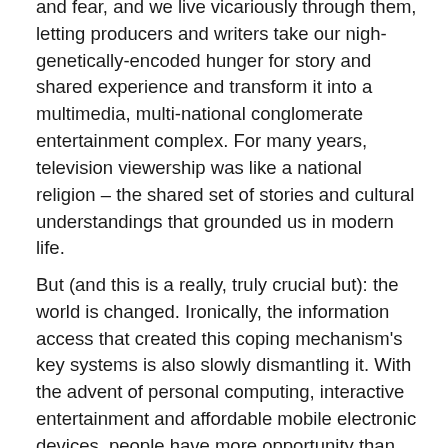and fear, and we live vicariously through them, letting producers and writers take our nigh-genetically-encoded hunger for story and shared experience and transform it into a multimedia, multi-national conglomerate entertainment complex. For many years, television viewership was like a national religion – the shared set of stories and cultural understandings that grounded us in modern life.
But (and this is a really, truly crucial but): the world is changed. Ironically, the information access that created this coping mechanism's key systems is also slowly dismantling it. With the advent of personal computing, interactive entertainment and affordable mobile electronic devices, people have more opportunity than ever to actively participate in and sometimes even co-create the